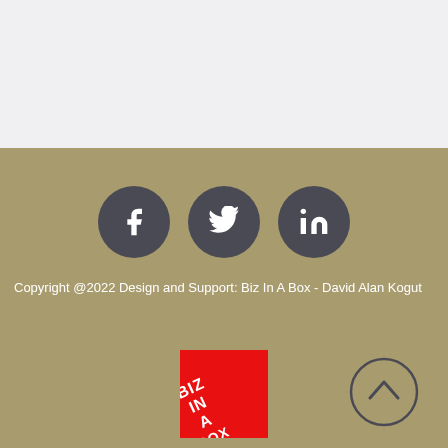[Figure (other): Light gray top section background]
[Figure (infographic): Three dark circular social media icons: Facebook (f), Twitter (bird), LinkedIn (in) on a tan/khaki background]
Copyright @2022 Design and Support: Biz In A Box - David Alan Kogut
[Figure (logo): Biz In A Box red square logo with white diagonal text reading BIZ IN A BOX]
[Figure (other): Back to top button: circle with upward arrow]